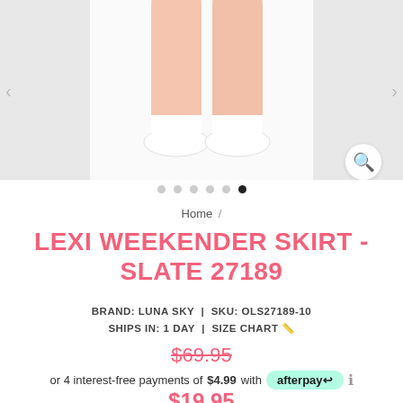[Figure (photo): Product photo showing legs and white sneakers from the knees down against a light gray background]
Home /
LEXI WEEKENDER SKIRT - SLATE 27189
BRAND: LUNA SKY  |  SKU: OLS27189-10
SHIPS IN: 1 DAY  |  SIZE CHART
$69.95 (strikethrough)
or 4 interest-free payments of $4.99 with afterpay
$19.95
COLOUR: SLATE